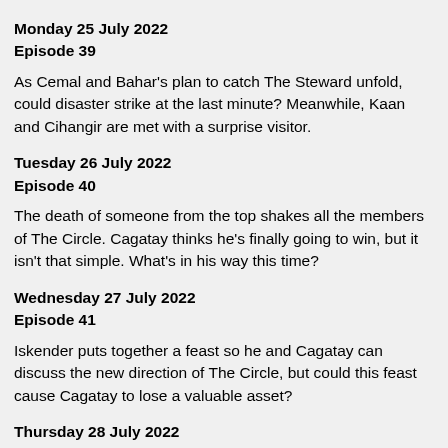Monday 25 July 2022
Episode 39
As Cemal and Bahar's plan to catch The Steward unfold, could disaster strike at the last minute? Meanwhile, Kaan and Cihangir are met with a surprise visitor.
Tuesday 26 July 2022
Episode 40
The death of someone from the top shakes all the members of The Circle. Cagatay thinks he's finally going to win, but it isn't that simple. What's in his way this time?
Wednesday 27 July 2022
Episode 41
Iskender puts together a feast so he and Cagatay can discuss the new direction of The Circle, but could this feast cause Cagatay to lose a valuable asset?
Thursday 28 July 2022
Episode 42